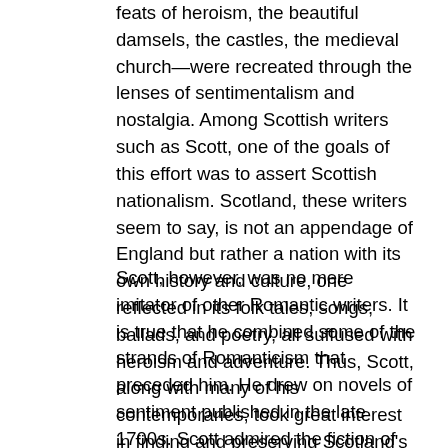feats of heroism, the beautiful damsels, the castles, the medieval church—were recreated through the lenses of sentimentalism and nostalgia. Among Scottish writers such as Scott, one of the goals of this effort was to assert Scottish nationalism. Scotland, these writers seem to say, is not an appendage of England but rather a nation with its own history and culture, one reflected in its folk tales, songs, ballads, and poetry, all suffused with heroism and adventure. Thus, Scott, along with many of his contemporaries, took great interest in finding and preserving Scotland's folk literature.
Scott, however, was no mere imitator of other Romantic writers. It is true that he combined some of the strands of Romanticism that preceded him. He drew on novels of sentiment published in the late 1700s. Scott admired the fiction of Ann Radcliffe and Monk Lewis, who wrote Gothic novels filled with moldy castles, mysterious villains, and extended passages celebrating the sublimity of nature. Most importantly, he reveled in the tales and ballads of adventure from the Scottish Highlands. Yet he